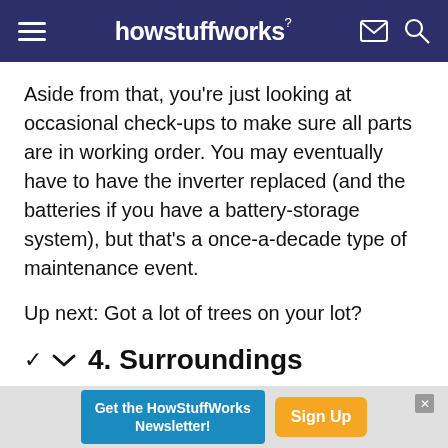howstuffworks
Aside from that, you're just looking at occasional check-ups to make sure all parts are in working order. You may eventually have to have the inverter replaced (and the batteries if you have a battery-storage system), but that's a once-a-decade type of maintenance event.
Up next: Got a lot of trees on your lot?
4. Surroundings
Get the HowStuffWorks Newsletter! Sign Up